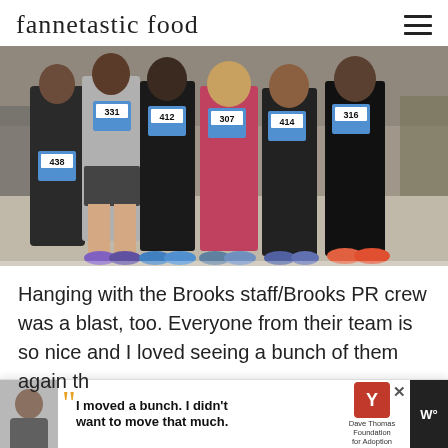fannetastic food
[Figure (photo): Group of six women holding up race bibs with numbers 331, 412, 438, 307, 414, 316 at what appears to be a race expo or event indoors.]
Hanging with the Brooks staff/Brooks PR crew was a blast, too. Everyone from their team is so nice and I loved seeing a bunch of them again th...
[Figure (infographic): Advertisement bar showing a young man photo on left, large quote marks with text 'I moved a bunch. I didn't want to move that much.' and Dave Thomas Foundation for Adoption logo with 'W°' icon on right.]